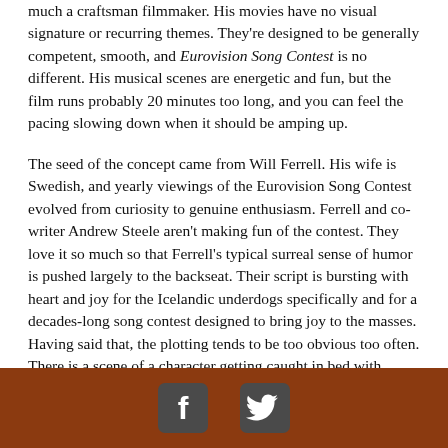much a craftsman filmmaker. His movies have no visual signature or recurring themes. They're designed to be generally competent, smooth, and Eurovision Song Contest is no different. His musical scenes are energetic and fun, but the film runs probably 20 minutes too long, and you can feel the pacing slowing down when it should be amping up.
The seed of the concept came from Will Ferrell. His wife is Swedish, and yearly viewings of the Eurovision Song Contest evolved from curiosity to genuine enthusiasm. Ferrell and co-writer Andrew Steele aren't making fun of the contest. They love it so much so that Ferrell's typical surreal sense of humor is pushed largely to the backseat. Their script is bursting with heart and joy for the Icelandic underdogs specifically and for a decades-long song contest designed to bring joy to the masses. Having said that, the plotting tends to be too obvious too often. There is a scene of a character getting caught in bed with someone else, But It's Not What It Looks Like. There's a scene of a character fleeing to the airport. Instead of moments of genuine surprise, it feels like boxes being checked.
[Figure (other): Footer bar with Facebook and Twitter social media icons on a brown/rust colored background]